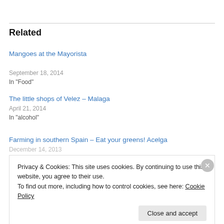Related
Mangoes at the Mayorista
September 18, 2014
In "Food"
The little shops of Velez – Malaga
April 21, 2014
In "alcohol"
Farming in southern Spain – Eat your greens! Acelga
December 14, 2013
Privacy & Cookies: This site uses cookies. By continuing to use this website, you agree to their use.
To find out more, including how to control cookies, see here: Cookie Policy
Close and accept